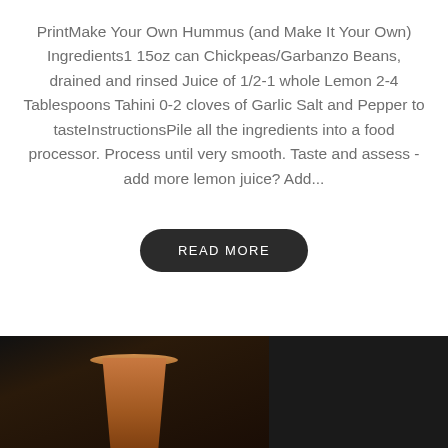PrintMake Your Own Hummus (and Make It Your Own) Ingredients1 15oz can Chickpeas/Garbanzo Beans, drained and rinsed Juice of 1/2-1 whole Lemon 2-4 Tablespoons Tahini 0-2 cloves of Garlic Salt and Pepper to tasteInstructionsPile all the ingredients into a food processor. Process until very smooth. Taste and assess - add more lemon juice? Add...
READ MORE
[Figure (photo): Bottom portion of page showing a brown beverage in a cup on the left side and what appears to be a white dish with floral pattern on the right side, against a dark background.]